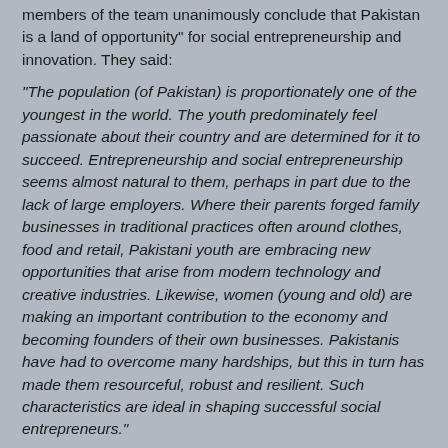members of the team unanimously conclude that  Pakistan is a land of opportunity" for social entrepreneurship and innovation.  They said:
"The population (of Pakistan) is proportionately one of the youngest in the world. The youth predominately feel passionate about their country and are determined for it to succeed. Entrepreneurship and social entrepreneurship seems almost natural to them, perhaps in part due to the lack of large employers. Where their parents forged family businesses in traditional practices often around clothes, food and retail, Pakistani youth are embracing new opportunities that arise from modern technology and creative industries. Likewise, women (young and old) are making an important contribution to the economy and becoming founders of their own businesses. Pakistanis have had to overcome many hardships, but this in turn has made them resourceful, robust and resilient. Such characteristics are ideal in shaping successful social entrepreneurs."
Particular areas they focused on include energy, water and housing.  Writing for the Guardian newspaper, Nishat Ahmad